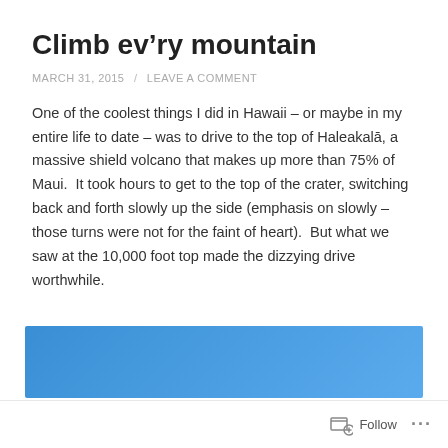Climb ev’ry mountain
MARCH 31, 2015 / LEAVE A COMMENT
One of the coolest things I did in Hawaii – or maybe in my entire life to date – was to drive to the top of Haleakalā, a massive shield volcano that makes up more than 75% of Maui.  It took hours to get to the top of the crater, switching back and forth slowly up the side (emphasis on slowly – those turns were not for the faint of heart).  But what we saw at the 10,000 foot top made the dizzying drive worthwhile.
[Figure (photo): Blue gradient rectangle, partially visible at bottom of page, representing an image placeholder or photograph header area.]
Follow